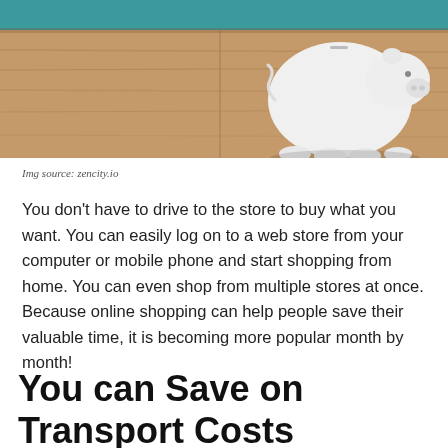[Figure (photo): A white piggy bank sitting on a wooden surface with a teal background]
Img source: zencity.io
You don't have to drive to the store to buy what you want. You can easily log on to a web store from your computer or mobile phone and start shopping from home. You can even shop from multiple stores at once. Because online shopping can help people save their valuable time, it is becoming more popular month by month!
You can Save on Transport Costs